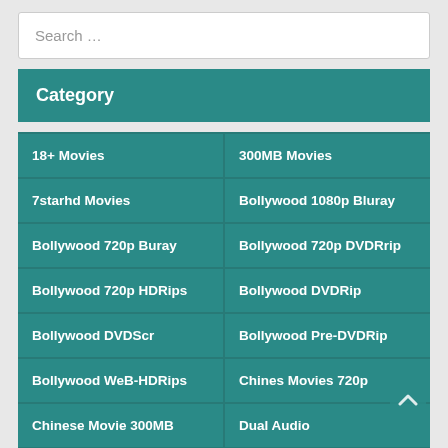Search …
Category
18+ Movies
300MB Movies
7starhd Movies
Bollywood 1080p Bluray
Bollywood 720p Buray
Bollywood 720p DVDRrip
Bollywood 720p HDRips
Bollywood DVDRip
Bollywood DVDScr
Bollywood Pre-DVDRip
Bollywood WeB-HDRips
Chines Movies 720p
Chinese Movie 300MB
Dual Audio
Dual Audio 1080P
Dual Audio 300MB
Dual Audio 720P
HEVC 300MB Movies
HEVC 720p Movies
Hindi Dubbed